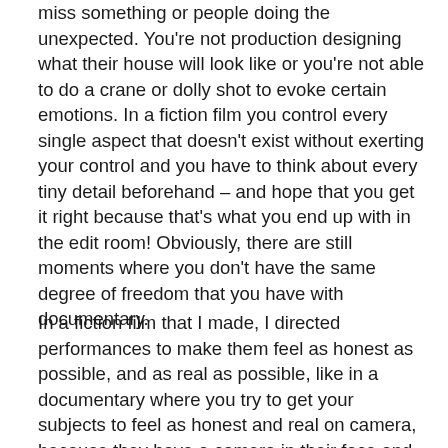miss something or people doing the unexpected.  You're not production designing what their house will look like or you're not able to do a crane or dolly shot to evoke certain emotions.  In a fiction film you control every single aspect that doesn't exist without exerting your control and you have to think about every tiny detail beforehand – and hope that you get it right because that's what you end up with in the edit room!  Obviously, there are still moments where you don't have the same degree of freedom that you have with documentary.
In a fiction film that I made, I directed performances to make them feel as honest as possible, and as real as possible, like in a documentary where you try to get your subjects to feel as honest and real on camera, because they have a camera in their face and you are sort of altering reality.  In a way, you are trying to figure out "how